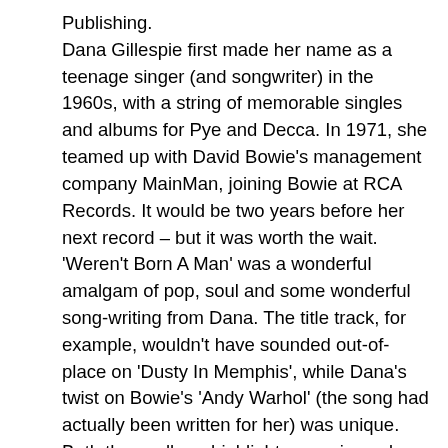Publishing.
Dana Gillespie first made her name as a teenage singer (and songwriter) in the 1960s, with a string of memorable singles and albums for Pye and Decca. In 1971, she teamed up with David Bowie's management company MainMan, joining Bowie at RCA Records. It would be two years before her next record – but it was worth the wait. 'Weren't Born A Man' was a wonderful amalgam of pop, soul and some wonderful song-writing from Dana. The title track, for example, wouldn't have sounded out-of-place on 'Dusty In Memphis', while Dana's twist on Bowie's 'Andy Warhol' (the song had actually been written for her) was unique. Both these album highlights were issued as singles. Dana swiftly followed up with a second album for RCA, 'Ain't Gonna Play No Second Fiddle'. The recordings were bluesier in places than on its predecessor but still equally impressive. The LP was promoted by a single, 'Really Love The Man', but thereafter Dana parted ways with MainMan before building an enviable reputation as a blues singer of some renown. Issued with the full support and involvement of the artist and MainMan, 'What Memories We Make' is the first proper